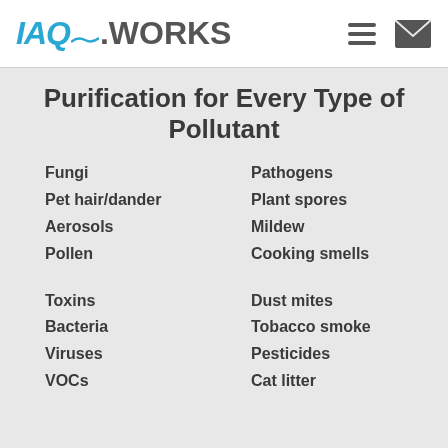IAQ.WORKS
Purification for Every Type of Pollutant
Fungi
Pet hair/dander
Aerosols
Pollen
Pathogens
Plant spores
Mildew
Cooking smells
Toxins
Bacteria
Viruses
VOCs
Dust mites
Tobacco smoke
Pesticides
Cat litter